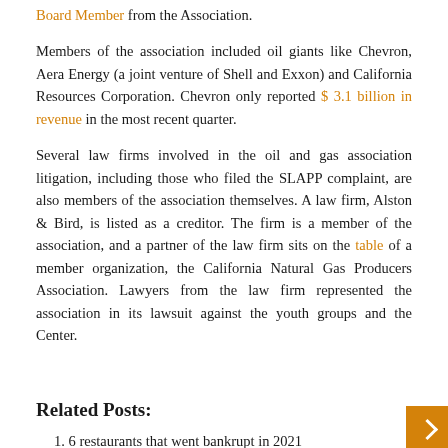Board Member from the Association.
Members of the association included oil giants like Chevron, Aera Energy (a joint venture of Shell and Exxon) and California Resources Corporation. Chevron only reported $ 3.1 billion in revenue in the most recent quarter.
Several law firms involved in the oil and gas association litigation, including those who filed the SLAPP complaint, are also members of the association themselves. A law firm, Alston & Bird, is listed as a creditor. The firm is a member of the association, and a partner of the law firm sits on the table of a member organization, the California Natural Gas Producers Association. Lawyers from the law firm represented the association in its lawsuit against the youth groups and the Center.
Related Posts:
6 restaurants that went bankrupt in 2021